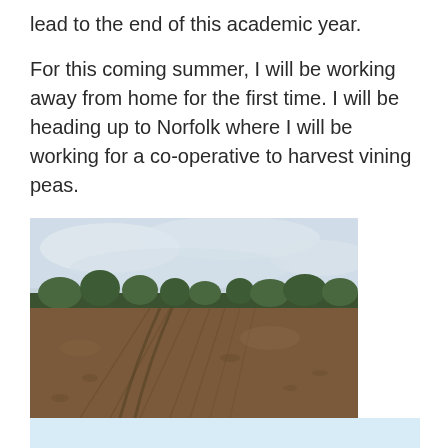lead to the end of this academic year.
For this coming summer, I will be working away from home for the first time. I will be heading up to Norfolk where I will be working for a co-operative to harvest vining peas.
[Figure (photo): A photograph of a ploughed agricultural field with brown soil, tractor tracks visible, and a treeline along the horizon under an overcast sky.]
[Figure (photo): Partial view of a light blue image or photograph, cropped at page bottom.]